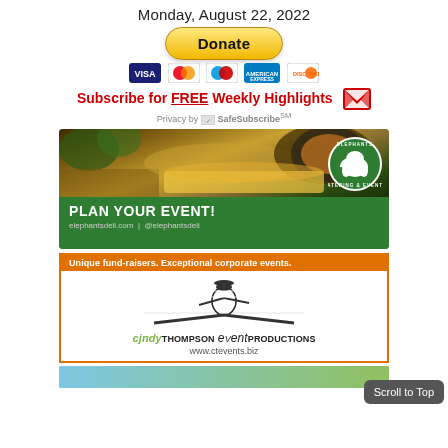Monday, August 22, 2022
[Figure (other): PayPal Donate button with Visa, Mastercard, Maestro, Amex, Discover card icons below]
Subscribe for FREE Weekly Highlights
Privacy by SafeSubscribeSM
[Figure (photo): Elephants Catering & Events advertisement: food spread on table, PLAN YOUR EVENT!, elephantsdeli.com | @elephantsdeli]
[Figure (photo): Cindy Thompson Event Productions advertisement: Unique fund-raisers. Exceptional corporate events. cjndyTHOMPSON eVentPRODUCTIONS www.ctevents.biz]
Scroll to Top
[Figure (photo): Partially visible advertisement at bottom of page]